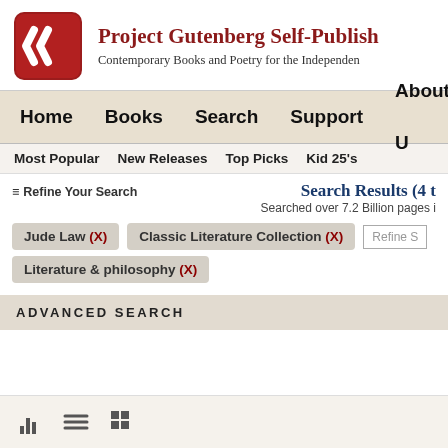[Figure (logo): Project Gutenberg Self-Publishing logo: red rounded square with white G-shaped chevron mark]
Project Gutenberg Self-Publish
Contemporary Books and Poetry for the Independen
Home   Books   Search   Support   About U
Most Popular   New Releases   Top Picks   Kid 25's
Search Results (4 t
☰ Refine Your Search
Searched over 7.2 Billion pages i
Jude Law (X)
Classic Literature Collection (X)
Refine S
Literature & philosophy (X)
ADVANCED SEARCH
View icons: list, detail, grid